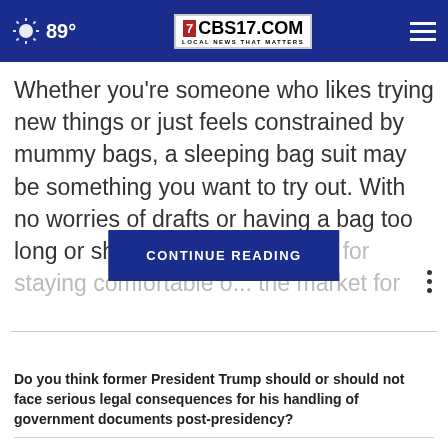89° CBS17.COM LOCAL NEWS THAT MATTERS
Whether you're someone who likes trying new things or just feels constrained by mummy bags, a sleeping bag suit may be something you want to try out. With no worries of drafts or having a bag too long or short, a sleeping bag [CONTINUE READING] on for staying comfortable o... the market for
CONTINUE READING
Do you think former President Trump should or should not face serious legal consequences for his handling of government documents post-presidency?
Definitely should
Possibly should